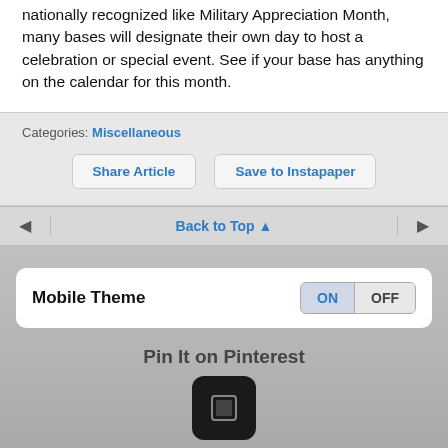nationally recognized like Military Appreciation Month, many bases will designate their own day to host a celebration or special event. See if your base has anything on the calendar for this month.
Categories: Miscellaneous
Share Article
Save to Instapaper
Back to Top ▲
Mobile Theme ON OFF
Pin It on Pinterest